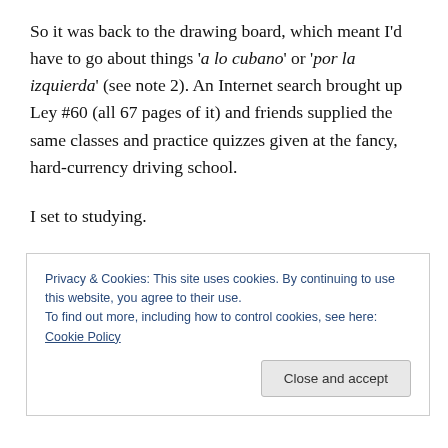So it was back to the drawing board, which meant I'd have to go about things 'a lo cubano' or 'por la izquierda' (see note 2). An Internet search brought up Ley #60 (all 67 pages of it) and friends supplied the same classes and practice quizzes given at the fancy, hard-currency driving school.
I set to studying.
Some of the Spanish tripped me up (I had never had cause to use the word contén and can anyone explain to
Privacy & Cookies: This site uses cookies. By continuing to use this website, you agree to their use.
To find out more, including how to control cookies, see here: Cookie Policy
Close and accept